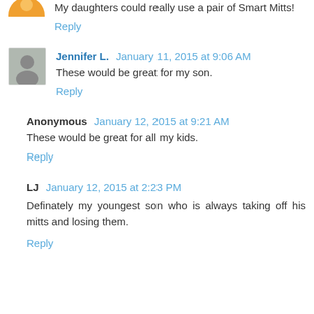My daughters could really use a pair of Smart Mitts!
Reply
Jennifer L. January 11, 2015 at 9:06 AM
These would be great for my son.
Reply
Anonymous January 12, 2015 at 9:21 AM
These would be great for all my kids.
Reply
LJ January 12, 2015 at 2:23 PM
Definately my youngest son who is always taking off his mitts and losing them.
Reply